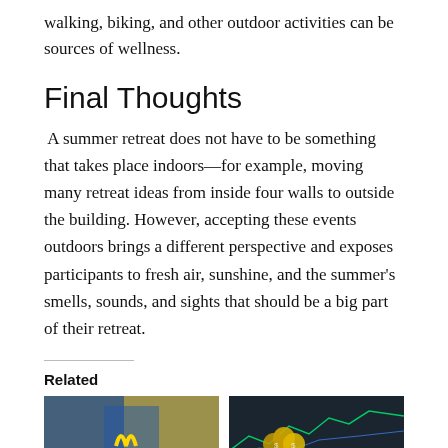walking, biking, and other outdoor activities can be sources of wellness.
Final Thoughts
A summer retreat does not have to be something that takes place indoors—for example, moving many retreat ideas from inside four walls to outside the building. However, accepting these events outdoors brings a different perspective and exposes participants to fresh air, sunshine, and the summer's smells, sounds, and sights that should be a big part of their retreat.
Related
[Figure (photo): Thumbnail image showing a McDonald's sign with blue background]
[Figure (photo): Thumbnail image showing coins and financial charts on a screen]